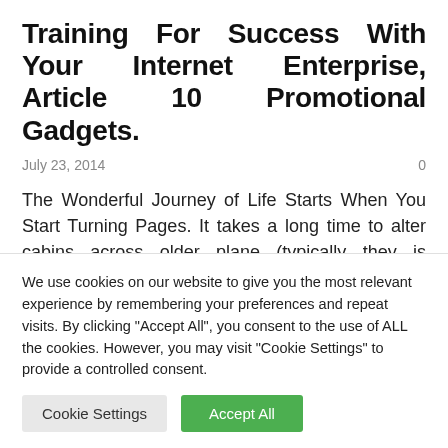Training For Success With Your Internet Enterprise, Article 10 Promotional Gadgets.
July 23, 2014
The Wonderful Journey of Life Starts When You Start Turning Pages. It takes a long time to alter cabins across older plane (typically they is probably not modified in any respect), so it’s common to see different products being
We use cookies on our website to give you the most relevant experience by remembering your preferences and repeat visits. By clicking “Accept All”, you consent to the use of ALL the cookies. However, you may visit "Cookie Settings" to provide a controlled consent.